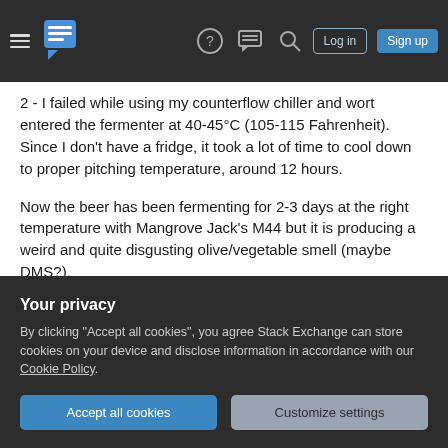Stack Exchange navigation bar with hamburger menu, logo, help, chat, search icons, Log in and Sign up buttons
2 - I failed while using my counterflow chiller and wort entered the fermenter at 40-45°C (105-115 Fahrenheit). Since I don't have a fridge, it took a lot of time to cool down to proper pitching temperature, around 12 hours.
Now the beer has been fermenting for 2-3 days at the right temperature with Mangrove Jack's M44 but it is producing a weird and quite disgusting olive/vegetable smell (maybe DMS?).
I tasted it and obviously that smell/flavor is there.
Your privacy

By clicking "Accept all cookies", you agree Stack Exchange can store cookies on your device and disclose information in accordance with our Cookie Policy.
Accept all cookies | Customize settings